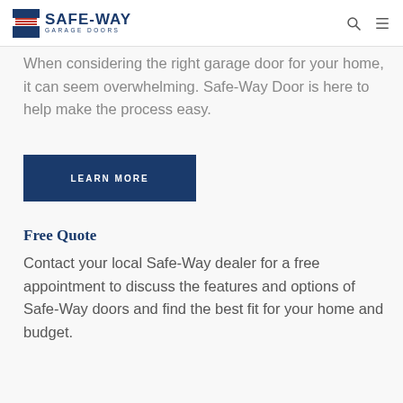SAFE-WAY GARAGE DOORS
When considering the right garage door for your home, it can seem overwhelming. Safe-Way Door is here to help make the process easy.
LEARN MORE
Free Quote
Contact your local Safe-Way dealer for a free appointment to discuss the features and options of Safe-Way doors and find the best fit for your home and budget.
GET A FREE QUOTE